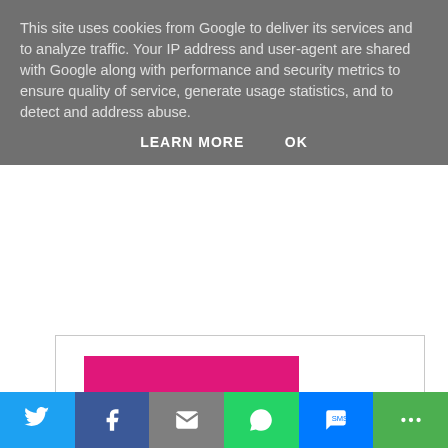This site uses cookies from Google to deliver its services and to analyze traffic. Your IP address and user-agent are shared with Google along with performance and security metrics to ensure quality of service, generate usage statistics, and to detect and address abuse.
LEARN MORE    OK
[Figure (screenshot): Partial screenshot of a blog page showing a pink/magenta horizontal bar element and a light gray box below it, within a bordered card]
COPYRIGHT POLICY AND NOTICE OF INTENT
© 2010-2020, Anyonita Nibbles Anyonita Green, All Rights Reserved. All content published on www.anyonita-nibbles.co.uk and www.anyonitanibbles.blogspot.co.uk and content written by Anyonita Green under the guise of
[Figure (screenshot): Social sharing bar at bottom with Twitter, Facebook, Email, WhatsApp, SMS, and More buttons in respective brand colors]